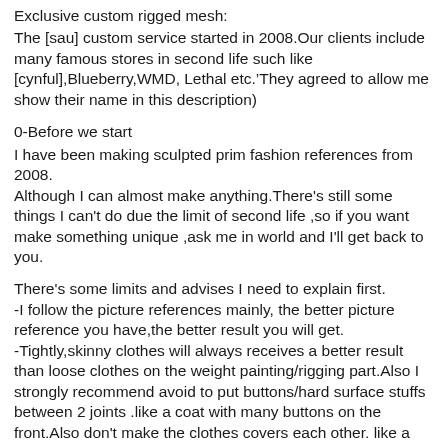Exclusive custom rigged mesh:
The [sau] custom service started in 2008.Our clients include many famous stores in second life such like [cynful],Blueberry,WMD, Lethal etc.’They agreed to allow me show their name in this description)
0-Before we start
I have been making sculpted prim fashion references from 2008.
Although I can almost make anything.There's still some things I can't do due the limit of second life ,so if you want make something unique ,ask me in world and I'll get back to you.
There's some limits and advises I need to explain first.
-I follow the picture references mainly, the better picture reference you have,the better result you will get.
-Tightly,skinny clothes will always receives a better result than loose clothes on the weight painting/rigging part.Also I strongly recommend avoid to put buttons/hard surface stuffs between 2 joints .like a coat with many buttons on the front.Also don't make the clothes covers each other. like a